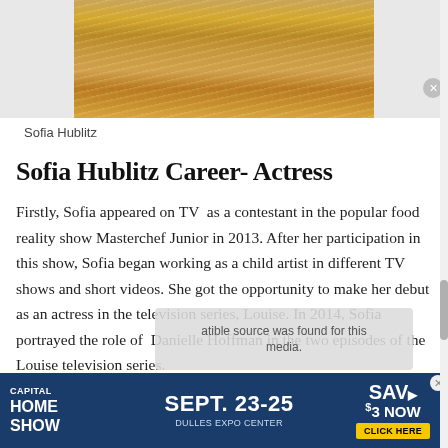[Figure (photo): Cropped photo of Sofia Hublitz in a gold sequined dress, upper body visible]
Sofia Hublitz
Sofia Hublitz Career- Actress
Firstly, Sofia appeared on TV as a contestant in the popular food reality show Masterchef Junior in 2013. After her participation in this show, Sofia began working as a child artist in different TV shows and short videos. She got the opportunity to make her debut as an actress in the television series, Louise. In 2014, Sofia portrayed the role of Danielle Hoffman in the two episodes of the Louise television series.